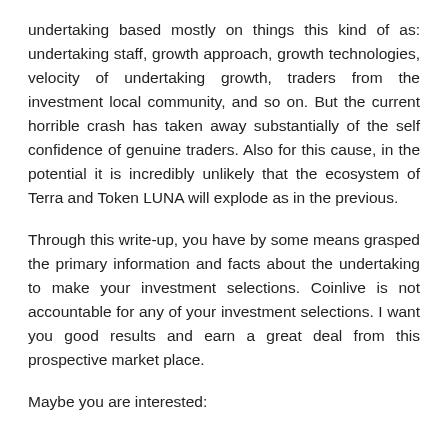undertaking based mostly on things this kind of as: undertaking staff, growth approach, growth technologies, velocity of undertaking growth, traders from the investment local community, and so on. But the current horrible crash has taken away substantially of the self confidence of genuine traders. Also for this cause, in the potential it is incredibly unlikely that the ecosystem of Terra and Token LUNA will explode as in the previous.
Through this write-up, you have by some means grasped the primary information and facts about the undertaking to make your investment selections. Coinlive is not accountable for any of your investment selections. I want you good results and earn a great deal from this prospective market place.
Maybe you are interested: